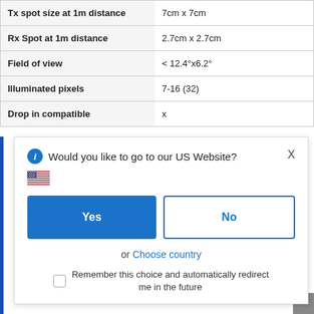| Property | Value |
| --- | --- |
| Tx spot size at 1m distance | 7cm x 7cm |
| Rx Spot at 1m distance | 2.7cm x 2.7cm |
| Field of view | < 12.4°x6.2° |
| Illuminated pixels | 7-16 (32) |
| Drop in compatible | x |
Would you like to go to our US Website?
Yes
No
or Choose country
Remember this choice and automatically redirect me in the future